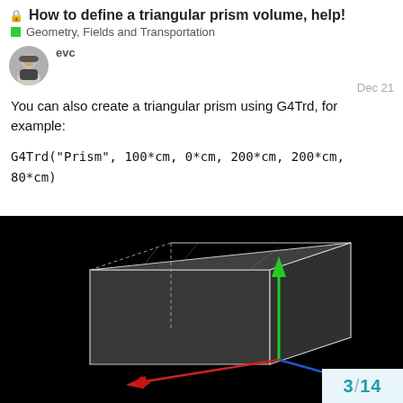How to define a triangular prism volume, help!
Geometry, Fields and Transportation
evc   Dec 21
You can also create a triangular prism using G4Trd, for example:
G4Trd("Prism", 100*cm, 0*cm, 200*cm, 200*cm, 80*cm)
[Figure (photo): 3D rendering of a triangular prism on a black background with coordinate axes shown: green arrow pointing up, red arrow pointing left, blue arrow pointing right. The prism is rendered with grey translucent faces and white edges.]
3 / 14